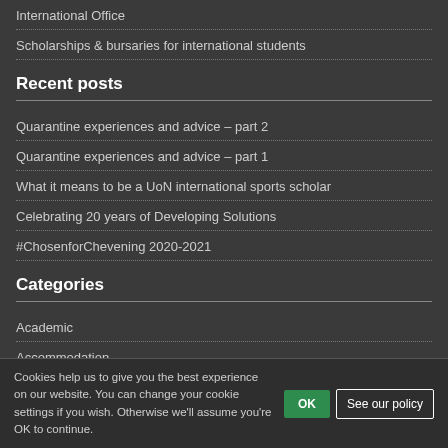International Office
Scholarships & bursaries for international students
Recent posts
Quarantine experiences and advice – part 2
Quarantine experiences and advice – part 1
What it means to be a UoN international sports scholar
Celebrating 20 years of Developing Solutions
#ChosenforChevening 2020-2021
Categories
Academic
Accommodation
Careers
Celebrations
Cookies help us to give you the best experience on our website. You can change your cookie settings if you wish. Otherwise we'll assume you're OK to continue.